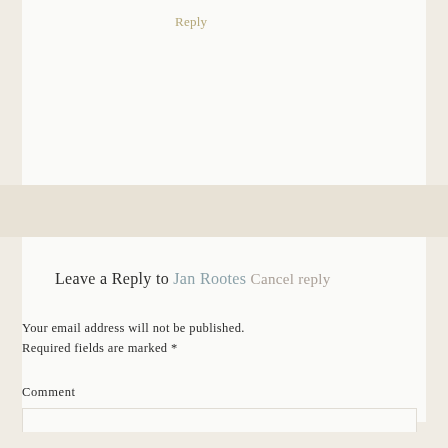Reply
Leave a Reply to Jan Rootes Cancel reply
Your email address will not be published. Required fields are marked *
Comment